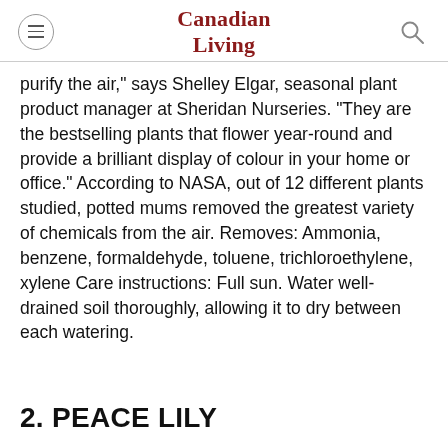Canadian Living
purify the air," says Shelley Elgar, seasonal plant product manager at Sheridan Nurseries. "They are the bestselling plants that flower year-round and provide a brilliant display of colour in your home or office." According to NASA, out of 12 different plants studied, potted mums removed the greatest variety of chemicals from the air. Removes: Ammonia, benzene, formaldehyde, toluene, trichloroethylene, xylene Care instructions: Full sun. Water well-drained soil thoroughly, allowing it to dry between each watering.
2. PEACE LILY